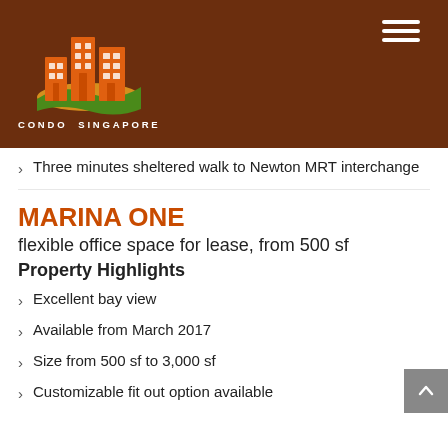[Figure (logo): Condo Singapore logo with orange buildings on green hill, brown background, text CONDO SINGAPORE]
Three minutes sheltered walk to Newton MRT interchange
MARINA ONE
flexible office space for lease, from 500 sf
Property Highlights
Excellent bay view
Available from March 2017
Size from 500 sf to 3,000 sf
Customizable fit out option available